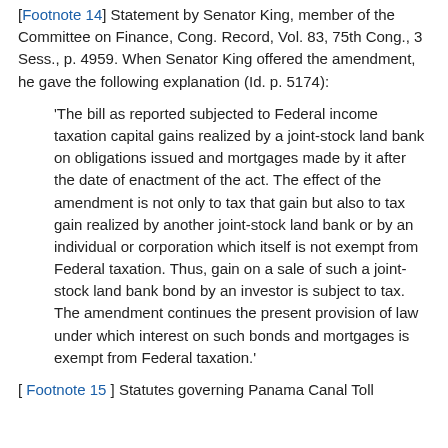[Footnote 14] Statement by Senator King, member of the Committee on Finance, Cong. Record, Vol. 83, 75th Cong., 3 Sess., p. 4959. When Senator King offered the amendment, he gave the following explanation (Id. p. 5174):
'The bill as reported subjected to Federal income taxation capital gains realized by a joint-stock land bank on obligations issued and mortgages made by it after the date of enactment of the act. The effect of the amendment is not only to tax that gain but also to tax gain realized by another joint-stock land bank or by an individual or corporation which itself is not exempt from Federal taxation. Thus, gain on a sale of such a joint-stock land bank bond by an investor is subject to tax. The amendment continues the present provision of law under which interest on such bonds and mortgages is exempt from Federal taxation.'
[ Footnote 15 ] Statutes governing Panama Canal Toll